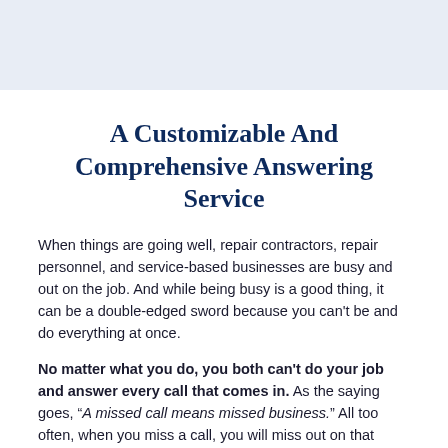[Figure (other): Light blue decorative header band at top of page]
A Customizable And Comprehensive Answering Service
When things are going well, repair contractors, repair personnel, and service-based businesses are busy and out on the job. And while being busy is a good thing, it can be a double-edged sword because you can't be and do everything at once.
No matter what you do, you both can't do your job and answer every call that comes in. As the saying goes, "A missed call means missed business." All too often, when you miss a call, you will miss out on that potential client's business, and that...